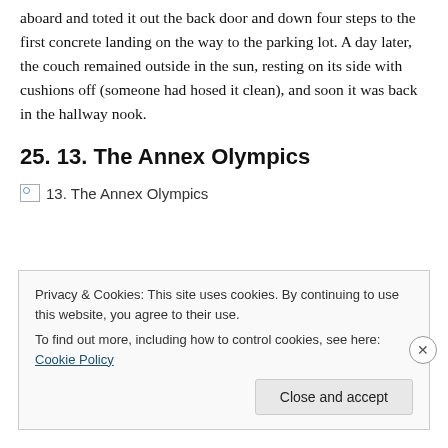aboard and toted it out the back door and down four steps to the first concrete landing on the way to the parking lot. A day later, the couch remained outside in the sun, resting on its side with cushions off (someone had hosed it clean), and soon it was back in the hallway nook.
25. 13. The Annex Olympics
[Figure (illustration): Broken image placeholder with alt text '13. The Annex Olympics']
Privacy & Cookies: This site uses cookies. By continuing to use this website, you agree to their use.
To find out more, including how to control cookies, see here: Cookie Policy